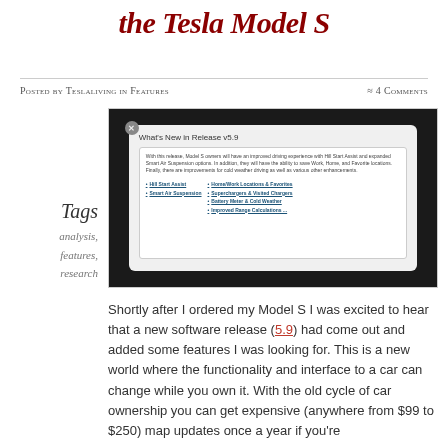the Tesla Model S
Posted by Teslaliving in Features
≈ 4 Comments
[Figure (screenshot): Screenshot of Tesla Model S touchscreen showing 'What's New in Release v5.9' dialog with features listed including Hill Start Assist, Smart Air Suspension, Home/Work Locations & Favorites, Superchargers & Visited Chargers, Battery Meter & Cold Weather, Improved Range Calculations]
Tags
analysis,
features,
research
Shortly after I ordered my Model S I was excited to hear that a new software release (5.9) had come out and added some features I was looking for. This is a new world where the functionality and interface to a car can change while you own it. With the old cycle of car ownership you can get expensive (anywhere from $99 to $250) map updates once a year if you're